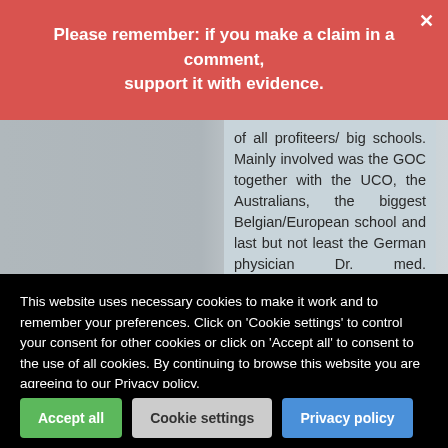Please remember: if you make a claim in a comment, support it with evidence.
of all profiteers/ big schools. Mainly involved was the GOC together with the UCO, the Australians, the biggest Belgian/European school and last but not least the German physician Dr. med. representatives who is a fellow of the SCCO England. So why should the not follow their own benchmarks which they have elaborated by their own?
This website uses necessary cookies to make it work and to remember your preferences. Click on 'Cookie settings' to control your consent for other cookies or click on 'Accept all' to consent to the use of all cookies. By continuing to browse this website you are agreeing to our Privacy policy.
Accept all | Cookie settings | Privacy policy